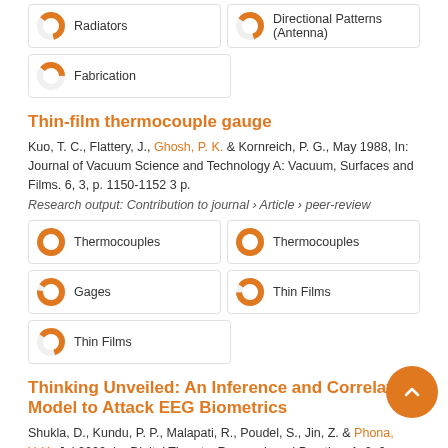Radiators
Directional Patterns (Antenna)
Fabrication
Thin-film thermocouple gauge
Kuo, T. C., Flattery, J., Ghosh, P. K. & Kornreich, P. G., May 1988, In: Journal of Vacuum Science and Technology A: Vacuum, Surfaces and Films. 6, 3, p. 1150-1152 3 p.
Research output: Contribution to journal › Article › peer-review
Thermocouples
Thermocouples
Gages
Thin Films
Thin Films
Thinking Unveiled: An Inference and Correlation Model to Attack EEG Biometrics
Shukla, D., Kundu, P. P., Malapati, R., Poudel, S., Jin, Z. & Phona, Y. Y., Jul 2020, In: Digital Threats: Research and Practice. 1, 2, 9